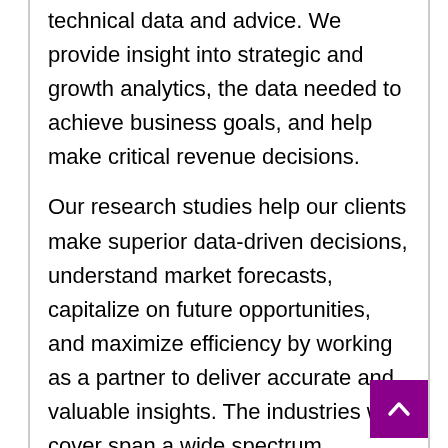technical data and advice. We provide insight into strategic and growth analytics, the data needed to achieve business goals, and help make critical revenue decisions.

Our research studies help our clients make superior data-driven decisions, understand market forecasts, capitalize on future opportunities, and maximize efficiency by working as a partner to deliver accurate and valuable insights. The industries we cover span a wide spectrum, including technology, chemicals, manufacturing, energy, food and beverage, automotive, robotics, packaging, construction, mining and the gas. etc